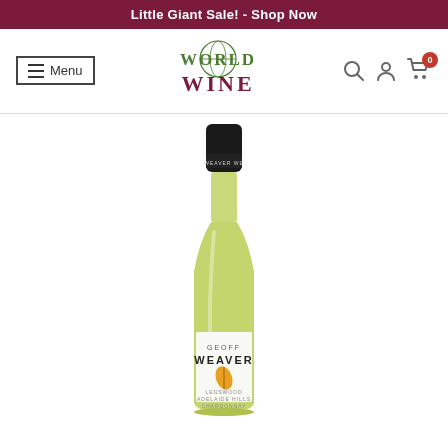Little Giant Sale! - Shop Now
[Figure (logo): World Wine logo with green WORLD text and maroon WINE text, with a globe graphic integrated into the O]
[Figure (photo): Geoff Weaver Chardonnay white wine bottle with black screw cap, pale green glass, white label showing GEOFF WEAVER Chardonnay Lenswood Adelaide Hills]